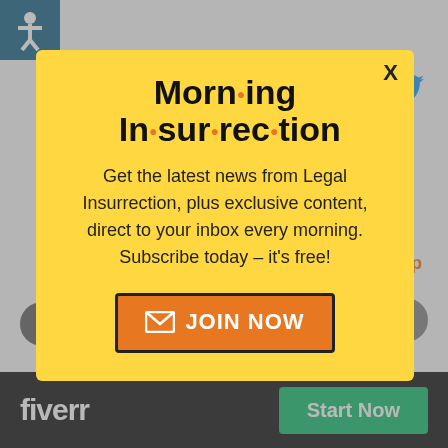[Figure (screenshot): Twitter/social media post background showing Tony @ABswl16 with Ukraine flag avatar, replying to @joanwalsh and @HillaryClinton]
[Figure (infographic): Morning Insurrection modal popup ad on yellow background with 'JOIN NOW' button and X close button]
Morning Insurrection
Get the latest news from Legal Insurrection, plus exclusive content, direct to your inbox every morning. Subscribe today – it's free!
JOIN NOW
fiverr
Start Now